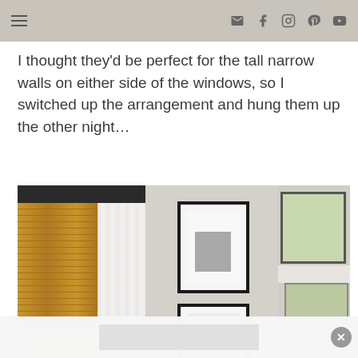Navigation bar with hamburger menu and social icons (email, facebook, instagram, pinterest, youtube)
I thought they'd be perfect for the tall narrow walls on either side of the windows, so I switched up the arrangement and hung them up the other night…
[Figure (photo): Interior room photo showing bamboo roman shades and white curtains on the left window, gray painted walls in the center with two black-framed artwork pieces hung vertically, and a second window on the right with white trim and view of green trees outside.]